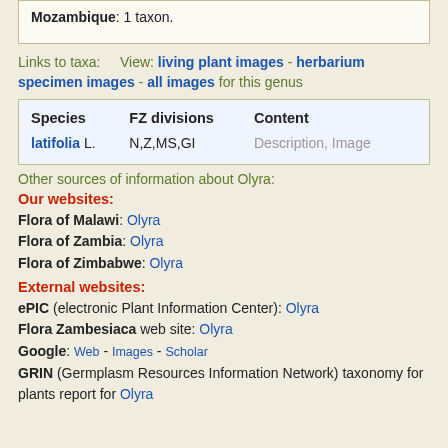Mozambique: 1 taxon.
Links to taxa:    View: living plant images - herbarium specimen images - all images for this genus
| Species | FZ divisions | Content |
| --- | --- | --- |
| latifolia L. | N,Z,MS,GI | Description, Image |
Other sources of information about Olyra:
Our websites:
Flora of Malawi: Olyra
Flora of Zambia: Olyra
Flora of Zimbabwe: Olyra
External websites:
ePIC (electronic Plant Information Center): Olyra
Flora Zambesiaca web site: Olyra
Google: Web - Images - Scholar
GRIN (Germplasm Resources Information Network) taxonomy for plants report for Olyra